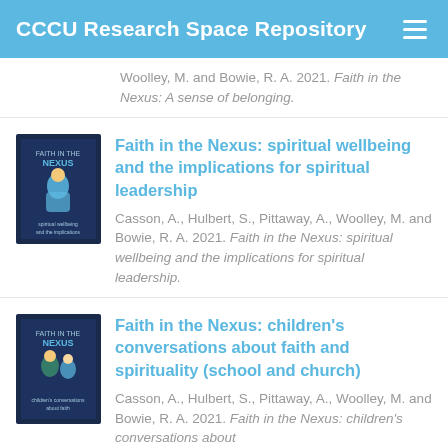CCCU Research Space Repository
Woolley, M. and Bowie, R. A. 2021. Faith in the Nexus: A sense of belonging.
Faith in the Nexus: spiritual wellbeing and the implications for spiritual leadership
Casson, A., Hulbert, S., Pittaway, A., Woolley, M. and Bowie, R. A. 2021. Faith in the Nexus: spiritual wellbeing and the implications for spiritual leadership.
Faith in the Nexus: children's conversations about faith and spirituality (school and church)
Casson, A., Hulbert, S., Pittaway, A., Woolley, M. and Bowie, R. A. 2021. Faith in the Nexus: children's conversations about